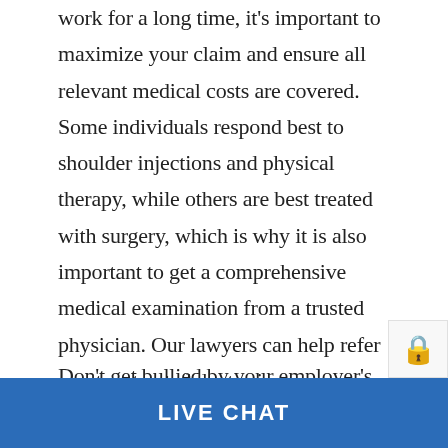work for a long time, it's important to maximize your claim and ensure all relevant medical costs are covered. Some individuals respond best to shoulder injections and physical therapy, while others are best treated with surgery, which is why it is also important to get a comprehensive medical examination from a trusted physician. Our lawyers can help refer you to a trusted doctor in your area.
Don't get bullied by your employer's
LIVE CHAT